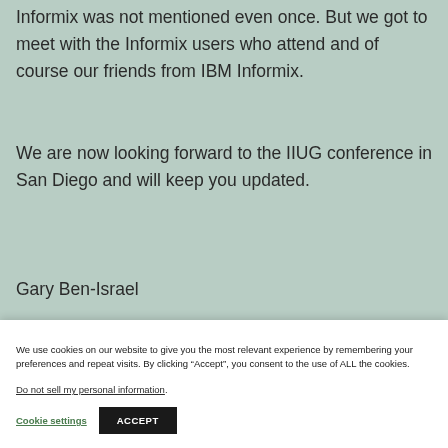Informix was not mentioned even once. But we got to meet with the Informix users who attend and of course our friends from IBM Informix.
We are now looking forward to the IIUG conference in San Diego and will keep you updated.
Gary Ben-Israel
We use cookies on our website to give you the most relevant experience by remembering your preferences and repeat visits. By clicking “Accept”, you consent to the use of ALL the cookies.
Do not sell my personal information.
Cookie settings
ACCEPT